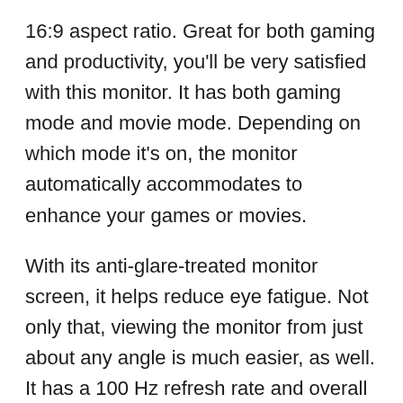16:9 aspect ratio. Great for both gaming and productivity, you'll be very satisfied with this monitor. It has both gaming mode and movie mode. Depending on which mode it's on, the monitor automatically accommodates to enhance your games or movies.
With its anti-glare-treated monitor screen, it helps reduce eye fatigue. Not only that, viewing the monitor from just about any angle is much easier, as well. It has a 100 Hz refresh rate and overall great picture quality for the price. You'll also appreciate the various options for connectivity. Overall, the Deco Gear DGVM29PB is a great but inexpensive choice below $300.